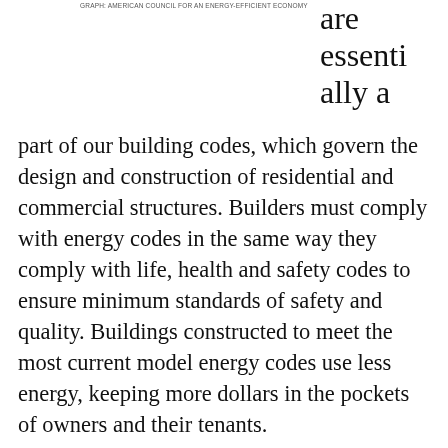Graph: AMERICAN COUNCIL FOR AN ENERGY-EFFICIENT ECONOMY
are essentially a part of our building codes, which govern the design and construction of residential and commercial structures. Builders must comply with energy codes in the same way they comply with life, health and safety codes to ensure minimum standards of safety and quality. Buildings constructed to meet the most current model energy codes use less energy, keeping more dollars in the pockets of owners and their tenants.
Major renovations of commercial buildings are likely to trigger mandatory energy-efficiency measures under the International Energy Conservation Code (IECC) or ASHRAE Standard 90.1, the two primary building energy codes for commercial buildings. The current national model codes are the 2012 IECC and ASHRAE Standard